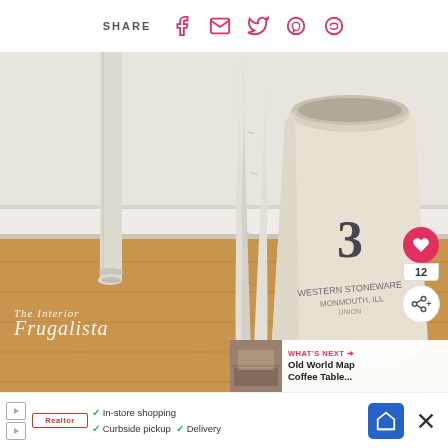SHARE (social icons: Facebook, Email, Twitter, Pinterest, WhatsApp)
[Figure (photo): Close-up photo of white painted distressed table legs on wood floor next to a vintage cream-colored ceramic crock numbered '3', with brand text on crock. The Interior Frugalista watermark in bottom left. Heart/like button (12 likes) and share button on right edge. What's Next banner: Old World Map Coffee Table...]
[Figure (screenshot): Advertisement bar at bottom showing: play button icon, Realtor logo, checkmarks for In-store shopping, Curbside pickup, Delivery, navigation/map icon, and X close button]